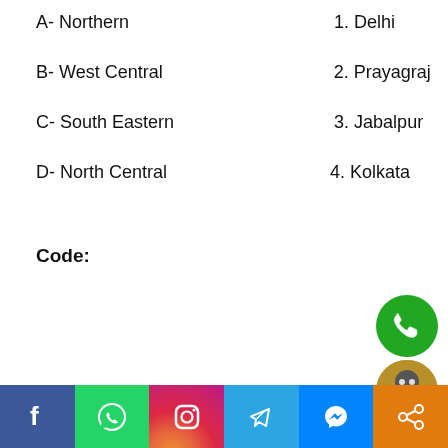A-  Northern                    1. Delhi
B-  West Central                2. Prayagraj
C-  South Eastern               3. Jabalpur
D-  North Central               4. Kolkata
Code:
| A | B | C | D |
| --- | --- | --- | --- |
| 1 | 2 | 3 | 4 |
| 2 | 3 | 4 | 1 |
| 1 | 3 | 4 | 2 |
| 4 | 3 | 2 | 1 |